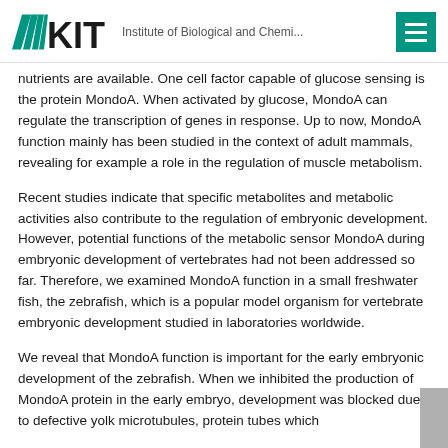KIT — Institute of Biological and Chemi...
nutrients are available. One cell factor capable of glucose sensing is the protein MondoA. When activated by glucose, MondoA can regulate the transcription of genes in response. Up to now, MondoA function mainly has been studied in the context of adult mammals, revealing for example a role in the regulation of muscle metabolism.
Recent studies indicate that specific metabolites and metabolic activities also contribute to the regulation of embryonic development. However, potential functions of the metabolic sensor MondoA during embryonic development of vertebrates had not been addressed so far. Therefore, we examined MondoA function in a small freshwater fish, the zebrafish, which is a popular model organism for vertebrate embryonic development studied in laboratories worldwide.
We reveal that MondoA function is important for the early embryonic development of the zebrafish. When we inhibited the production of MondoA protein in the early embryo, development was blocked due to defective yolk microtubules, protein tubes which...